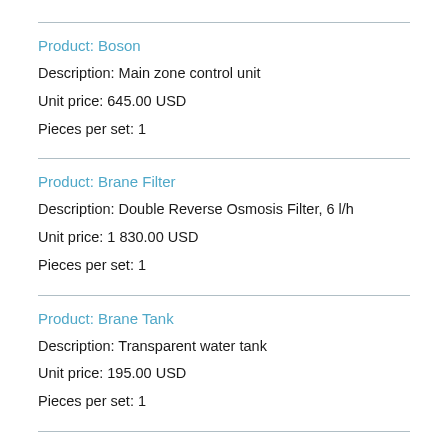Product:  Boson
Description:  Main zone control unit
Unit price:  645.00 USD
Pieces per set:  1
Product:  Brane Filter
Description:  Double Reverse Osmosis Filter, 6 l/h
Unit price:  1 830.00 USD
Pieces per set:  1
Product:  Brane Tank
Description:  Transparent water tank
Unit price:  195.00 USD
Pieces per set:  1
Total price:  11 538.0 USD